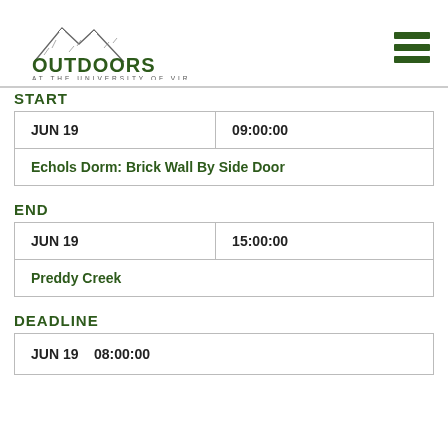[Figure (logo): Outdoors at the University of Virginia logo with mountain illustration]
START
| JUN 19 | 09:00:00 |
| Echols Dorm: Brick Wall By Side Door |  |
END
| JUN 19 | 15:00:00 |
| Preddy Creek |  |
DEADLINE
| JUN 19    08:00:00 |  |